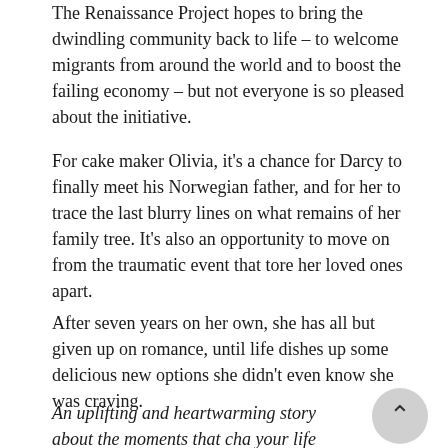The Renaissance Project hopes to bring the dwindling community back to life – to welcome migrants from around the world and to boost the failing economy – but not everyone is so pleased about the initiative.
For cake maker Olivia, it's a chance for Darcy to finally meet his Norwegian father, and for her to trace the last blurry lines on what remains of her family tree. It's also an opportunity to move on from the traumatic event that tore her loved ones apart.
After seven years on her own, she has all but given up on romance, until life dishes up some delicious new options she didn't even know she was craving.
An uplifting and heartwarming story about the moments that cha your life forever, human kindness and being true to yourself. Praise for Josephine Moon: